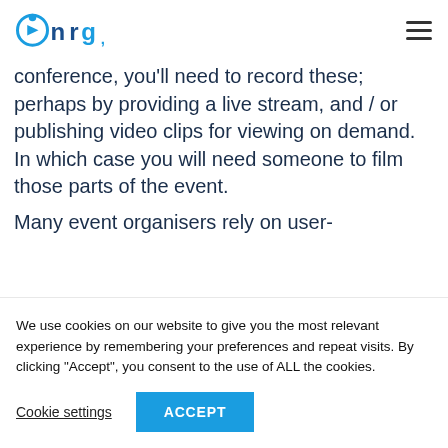NRC logo and navigation hamburger menu
conference, you'll need to record these; perhaps by providing a live stream, and / or publishing video clips for viewing on demand. In which case you will need someone to film those parts of the event.
Many event organisers rely on user-
We use cookies on our website to give you the most relevant experience by remembering your preferences and repeat visits. By clicking "Accept", you consent to the use of ALL the cookies.
Cookie settings
ACCEPT